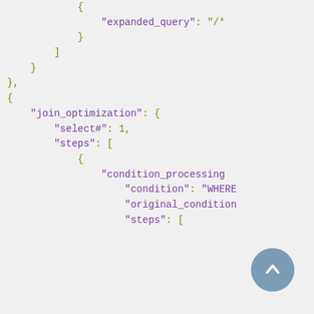JSON code snippet showing join_optimization with select#, steps, condition_processing, condition WHERE, original_condition, and steps array